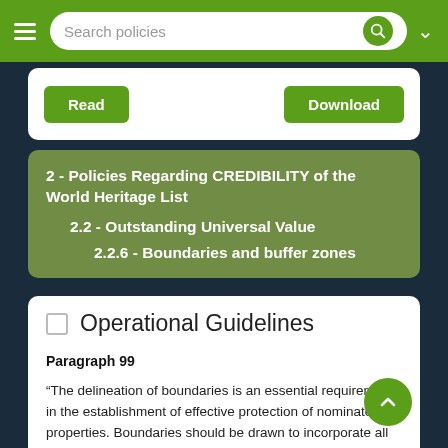Search policies
Read   Download
2 - Policies Regarding CREDIBILITY of the World Heritage List
2.2 - Outstanding Universal Value
2.2.6 - Boundaries and buffer zones
Operational Guidelines
Paragraph 99
“The delineation of boundaries is an essential requirement in the establishment of effective protection of nominated properties. Boundaries should be drawn to incorporate all the attributes that convey the Outstanding Universal Value and integrity of the